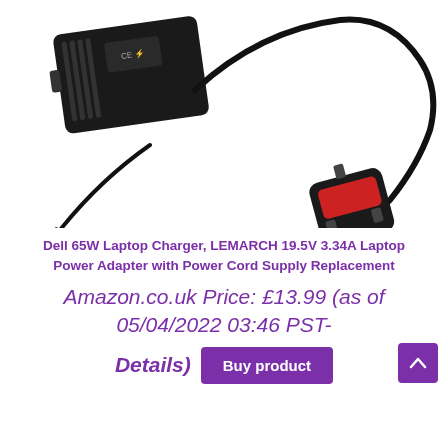[Figure (photo): Product photo showing a Dell 65W laptop charger power adapter (black rectangular brick with CE marking) with a barrel connector cable and a UK 3-pin power cord with red fuse]
Dell 65W Laptop Charger, LEMARCH 19.5V 3.34A Laptop Power Adapter with Power Cord Supply Replacement
Amazon.co.uk Price: £13.99 (as of 05/04/2022 03:46 PST-
Details)